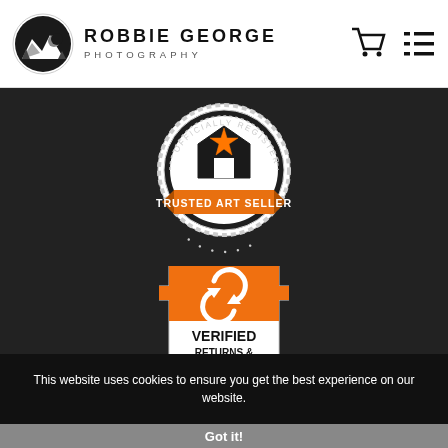ROBBIE GEORGE PHOTOGRAPHY
[Figure (logo): Trusted Art Seller officially registered badge - circular seal with house/star icon and orange ribbon banner]
[Figure (logo): Verified Returns & Exchange Policy shield badge with orange top section and recycling arrows icon]
This website uses cookies to ensure you get the best experience on our website.
Got it!